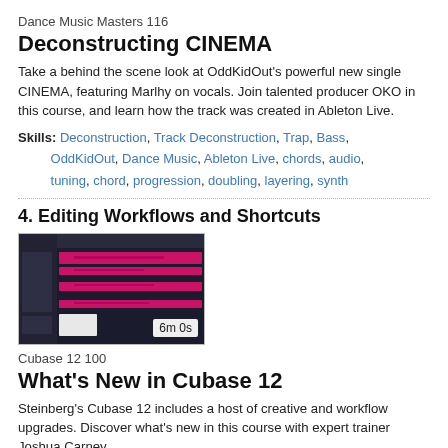Dance Music Masters 116
Deconstructing CINEMA
Take a behind the scene look at OddKidOut's powerful new single CINEMA, featuring Marlhy on vocals. Join talented producer OKO in this course, and learn how the track was created in Ableton Live.
Skills: Deconstruction, Track Deconstruction, Trap, Bass, OddKidOut, Dance Music, Ableton Live, chords, audio, tuning, chord, progression, doubling, layering, synth
4. Editing Workflows and Shortcuts
[Figure (screenshot): Screenshot of a DAW (Cubase/Ableton) showing a MIDI or audio editing interface with a dark background and bright pink/magenta blocks representing audio clips or notes. Duration label shows '6m 0s'.]
Cubase 12 100
What's New in Cubase 12
Steinberg's Cubase 12 includes a host of creative and workflow upgrades. Discover what's new in this course with expert trainer Joshua Carney.